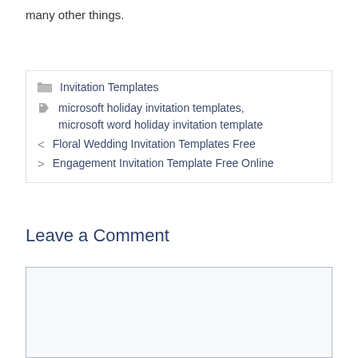many other things.
Invitation Templates
microsoft holiday invitation templates, microsoft word holiday invitation template
< Floral Wedding Invitation Templates Free
> Engagement Invitation Template Free Online
Leave a Comment